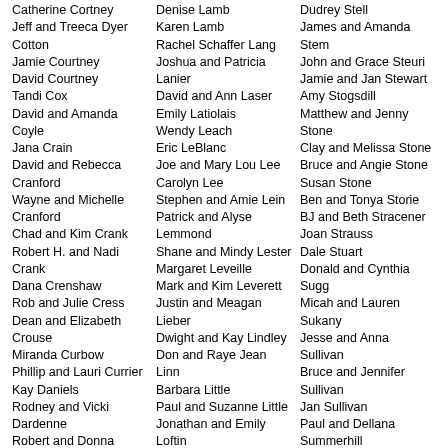Catherine Cortney
Jeff and Treeca Dyer Cotton
Jamie Courtney
David Courtney
Tandi Cox
David and Amanda Coyle
Jana Crain
David and Rebecca Cranford
Wayne and Michelle Cranford
Chad and Kim Crank
Robert H. and Nadi Crank
Dana Crenshaw
Rob and Julie Cress
Dean and Elizabeth Crouse
Miranda Curbow
Phillip and Lauri Currier
Kay Daniels
Rodney and Vicki Dardenne
Robert and Donna Darling
Denise Lamb
Karen Lamb
Rachel Schaffer Lang
Joshua and Patricia Lanier
David and Ann Laser
Emily Latiolais
Wendy Leach
Eric LeBlanc
Joe and Mary Lou Lee
Carolyn Lee
Stephen and Amie Lein
Patrick and Alyse Lemmond
Shane and Mindy Lester
Margaret Leveille
Mark and Kim Leverett
Justin and Meagan Lieber
Dwight and Kay Lindley
Don and Raye Jean Linn
Barbara Little
Paul and Suzanne Little
Jonathan and Emily Loftin
Ssu-Chi Loh
Hubert and Peggy Long
Dudrey Stell
James and Amanda Stem
John and Grace Steuri
Jamie and Jan Stewart
Amy Stogsdill
Matthew and Jenny Stone
Clay and Melissa Stone
Bruce and Angie Stone
Susan Stone
Ben and Tonya Storie
BJ and Beth Stracener
Joan Strauss
Dale Stuart
Donald and Cynthia Sugg
Micah and Lauren Sukany
Jesse and Anna Sullivan
Bruce and Jennifer Sullivan
Jan Sullivan
Paul and Dellana Summerhill
Ronald and Mary Ann Swager